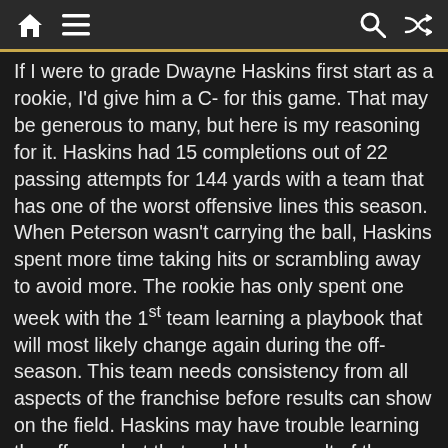Home | Menu | Search | Shuffle
If I were to grade Dwayne Haskins first start as a rookie, I'd give him a C- for this game. That may be generous to many, but here is my reasoning for it. Haskins had 15 completions out of 22 passing attempts for 144 yards with a team that has one of the worst offensive lines this season. When Peterson wasn't carrying the ball, Haskins spent more time taking hits or scrambling away to avoid more. The rookie has only spent one week with the 1st team learning a playbook that will most likely change again during the off-season. This team needs consistency from all aspects of the franchise before results can show on the field. Haskins may have trouble learning the offense, but that could be a result of the team culture being poisoned bad enough that the coaches probably aren't teaching